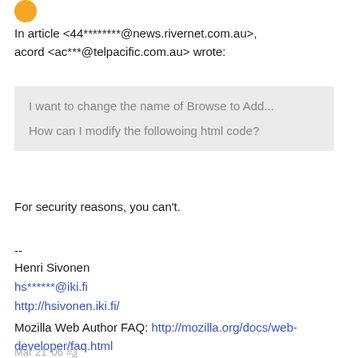[Figure (illustration): Orange circular avatar/icon in top left corner]
In article <44********@news.rivernet.com.au>, acord <ac***@telpacific.com.au> wrote:
I want to change the name of Browse to Add...
How can I modify the followoing html code?
For security reasons, you can't.
--
Henri Sivonen
hs******@iki.fi
http://hsivonen.iki.fi/
Mozilla Web Author FAQ: http://mozilla.org/docs/web-developer/faq.html
Mar 21 '06 #3